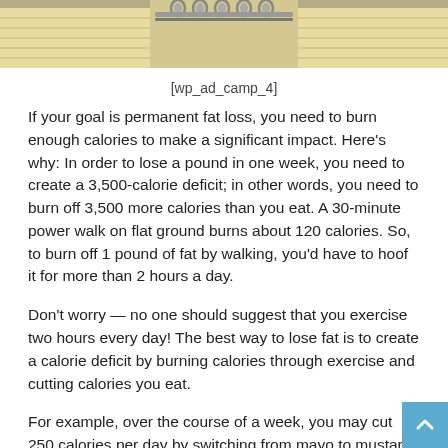[Figure (photo): Top portion of a spiral-bound notebook with lined pages, close-up view showing the metal spiral binding and yellow-tinted lined paper]
[wp_ad_camp_4]
If your goal is permanent fat loss, you need to burn enough calories to make a significant impact. Here's why: In order to lose a pound in one week, you need to create a 3,500-calorie deficit; in other words, you need to burn off 3,500 more calories than you eat. A 30-minute power walk on flat ground burns about 120 calories. So, to burn off 1 pound of fat by walking, you'd have to hoof it for more than 2 hours a day.
Don't worry — no one should suggest that you exercise two hours every day! The best way to lose fat is to create a calorie deficit by burning calories through exercise and cutting calories you eat.
For example, over the course of a week, you may cut 250 calories per day by switching from mayo to mustard on your